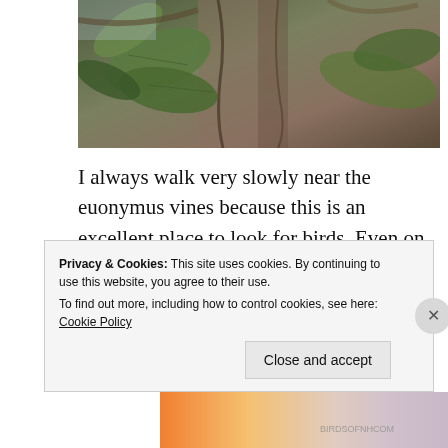[Figure (photo): Close-up photograph of euonymus vines with green leaves against a tree bark background]
I always walk very slowly near the euonymus vines because this is an excellent place to look for birds. Even on cold winter days when many birds are sheltered and hard to spot, I usually can find a few here. This year, Northern Cardinals are the most common, but I also frequently see Dark-eyed Juncos Red-bellied Woodpeckers.
Privacy & Cookies: This site uses cookies. By continuing to use this website, you agree to their use.
To find out more, including how to control cookies, see here: Cookie Policy
Close and accept